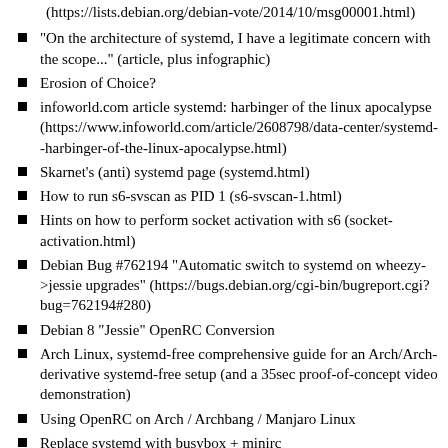(https://lists.debian.org/debian-vote/2014/10/msg00001.html)
"On the architecture of systemd, I have a legitimate concern with the scope..." (article, plus infographic)
Erosion of Choice?
infoworld.com article systemd: harbinger of the linux apocalypse (https://www.infoworld.com/article/2608798/data-center/systemd--harbinger-of-the-linux-apocalypse.html)
Skarnet's (anti) systemd page (systemd.html)
How to run s6-svscan as PID 1 (s6-svscan-1.html)
Hints on how to perform socket activation with s6 (socket-activation.html)
Debian Bug #762194 "Automatic switch to systemd on wheezy->jessie upgrades" (https://bugs.debian.org/cgi-bin/bugreport.cgi?bug=762194#280)
Debian 8 "Jessie" OpenRC Conversion
Arch Linux, systemd-free comprehensive guide for an Arch/Arch-derivative systemd-free setup (and a 35sec proof-of-concept video demonstration)
Using OpenRC on Arch / Archbang / Manjaro Linux
Replace systemd with busybox + minirc (https://bbs.archlinux.org/viewtopic.php?id=162606)
How to Prevent systemd Installation (http://wiki.linuxquestions.org/wiki/Prevent_systemd_installation) guide for users of various affected distros